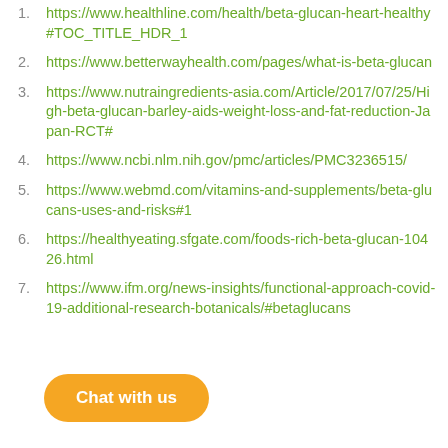1. https://www.healthline.com/health/beta-glucan-heart-healthy#TOC_TITLE_HDR_1
2. https://www.betterwayhealth.com/pages/what-is-beta-glucan
3. https://www.nutraingredients-asia.com/Article/2017/07/25/High-beta-glucan-barley-aids-weight-loss-and-fat-reduction-Japan-RCT#
4. https://www.ncbi.nlm.nih.gov/pmc/articles/PMC3236515/
5. https://www.webmd.com/vitamins-and-supplements/beta-glucans-uses-and-risks#1
6. https://healthyeating.sfgate.com/foods-rich-beta-glucan-10426.html
7. https://www.ifm.org/news-insights/functional-approach-covid-19-additional-research-botanicals/#betaglucans
[Figure (other): Orange 'Chat with us' button overlay at bottom left]